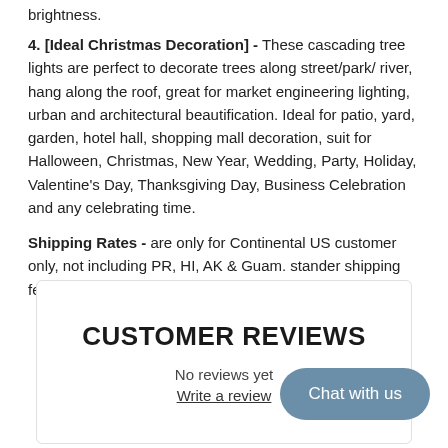brightness.
4. [Ideal Christmas Decoration] - These cascading tree lights are perfect to decorate trees along street/park/ river, hang along the roof, great for market engineering lighting, urban and architectural beautification. Ideal for patio, yard, garden, hotel hall, shopping mall decoration, suit for Halloween, Christmas, New Year, Wedding, Party, Holiday, Valentine's Day, Thanksgiving Day, Business Celebration and any celebrating time.
Shipping Rates - are only for Continental US customer only, not including PR, HI, AK & Guam. stander shipping fee is $15 pre order.
CUSTOMER REVIEWS
No reviews yet
Write a review